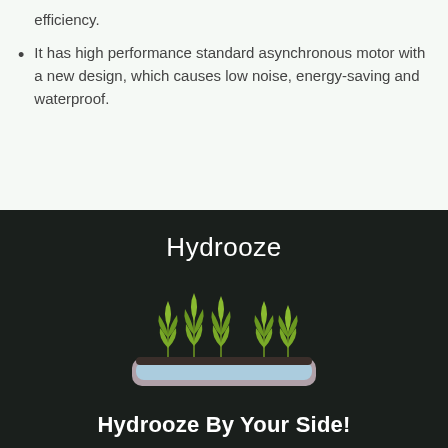efficiency.
It has high performance standard asynchronous motor with a new design, which causes low noise, energy-saving and waterproof.
Hydrooze
[Figure (illustration): Illustration of a hydroponic growing tray with multiple green fern-like plants growing from a water-filled trough with a blue water level visible inside a rounded rectangular container.]
Hydrooze By Your Side!